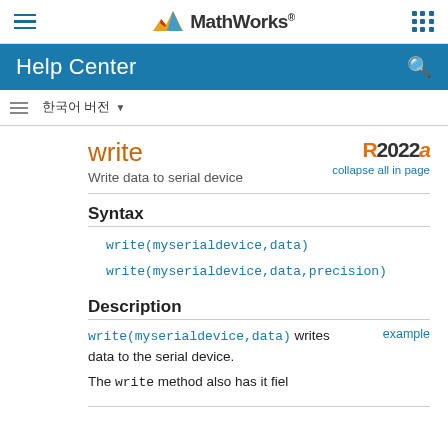MathWorks Help Center
write
Write data to serial device
R2022a  collapse all in page
Syntax
write(myserialdevice,data)
write(myserialdevice,data,precision)
Description
write(myserialdevice,data) writes data to the serial device.
The write method... (continues below)